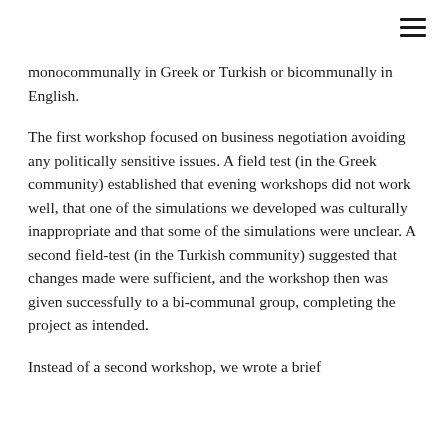≡
monocommunally in Greek or Turkish or bicommunally in English.
The first workshop focused on business negotiation avoiding any politically sensitive issues. A field test (in the Greek community) established that evening workshops did not work well, that one of the simulations we developed was culturally inappropriate and that some of the simulations were unclear. A second field-test (in the Turkish community) suggested that changes made were sufficient, and the workshop then was given successfully to a bi-communal group, completing the project as intended.
Instead of a second workshop, we wrote a brief